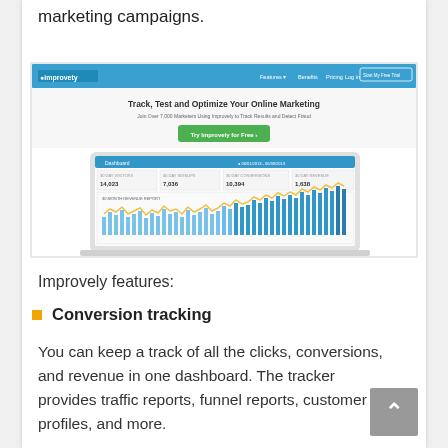marketing campaigns.
[Figure (screenshot): Screenshot of Improvely website showing 'Track, Test and Optimize Your Online Marketing' headline, navigation bar, green CTA button 'Try Improvely for Free', and a laptop showing a dashboard with bar and line charts.]
Improvely features:
Conversion tracking
You can keep a track of all the clicks, conversions, and revenue in one dashboard. The tracker provides traffic reports, funnel reports, customer profiles, and more.